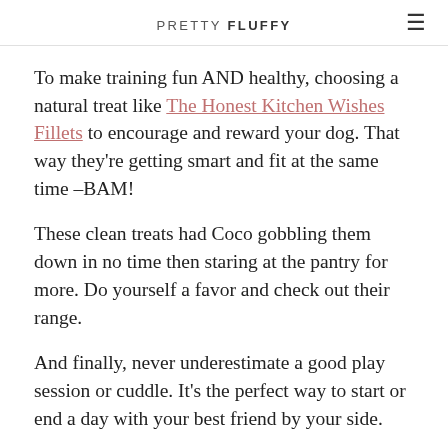PRETTY FLUFFY
To make training fun AND healthy, choosing a natural treat like The Honest Kitchen Wishes Fillets to encourage and reward your dog. That way they're getting smart and fit at the same time –BAM!
These clean treats had Coco gobbling them down in no time then staring at the pantry for more. Do yourself a favor and check out their range.
And finally, never underestimate a good play session or cuddle. It's the perfect way to start or end a day with your best friend by your side.
Wanna Get Your Dog